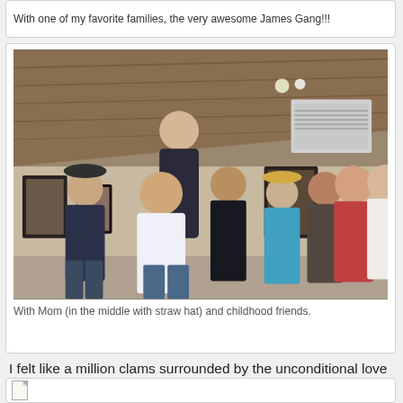With one of my favorite families, the very awesome James Gang!!!
[Figure (photo): Group photo of people standing together indoors, in a room with a slanted wooden ceiling and track lighting. About 8-9 people posing together.]
With Mom (in the middle with straw hat) and childhood friends.
I felt like a million clams surrounded by the unconditional love and support of my family and friends...awesome feeling!
[Figure (other): Partial view of another card/post at bottom of page with a document icon.]